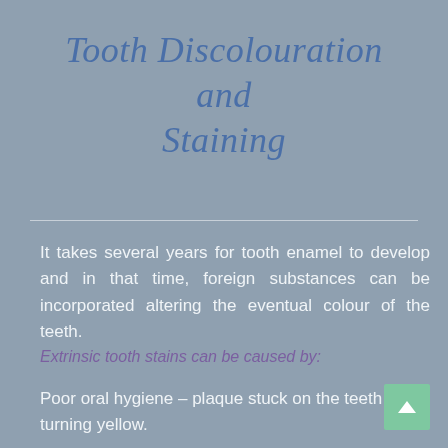Tooth Discolouration and Staining
It takes several years for tooth enamel to develop and in that time, foreign substances can be incorporated altering the eventual colour of the teeth.
Extrinsic tooth stains can be caused by:
Poor oral hygiene – plaque stuck on the teeth turning yellow.